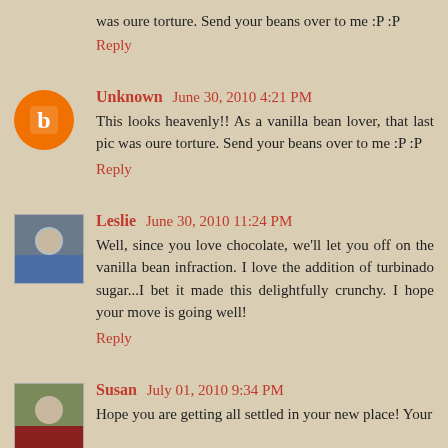was oure torture. Send your beans over to me :P :P
Reply
Unknown June 30, 2010 4:21 PM
This looks heavenly!! As a vanilla bean lover, that last pic was oure torture. Send your beans over to me :P :P
Reply
Leslie June 30, 2010 11:24 PM
Well, since you love chocolate, we'll let you off on the vanilla bean infraction. I love the addition of turbinado sugar...I bet it made this delightfully crunchy. I hope your move is going well!
Reply
Susan July 01, 2010 9:34 PM
Hope you are getting all settled in your new place! Your